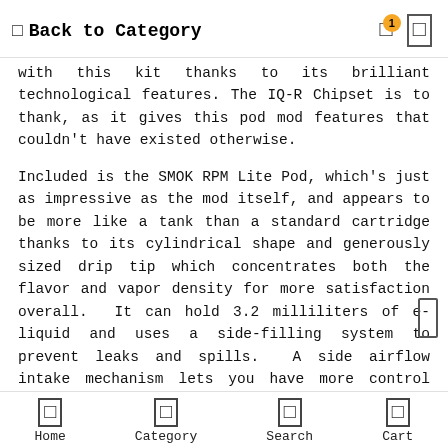Back to Category
with this kit thanks to its brilliant technological features. The IQ-R Chipset is to thank, as it gives this pod mod features that couldn't have existed otherwise.
Included is the SMOK RPM Lite Pod, which's just as impressive as the mod itself, and appears to be more like a tank than a standard cartridge thanks to its cylindrical shape and generously sized drip tip which concentrates both the flavor and vapor density for more satisfaction overall.  It can hold 3.2 milliliters of e-liquid and uses a side-filling system to prevent leaks and spills.  A side airflow intake mechanism lets you have more control over the quality of your draws.
Pod cartridge comes with two types of coils: 0.4ohm Mesh
Home   Category   Search   Cart